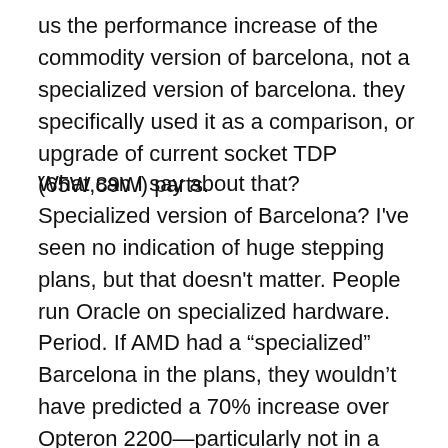us the performance increase of the commodity version of barcelona, not a specialized version of barcelona. they specifically used it as a comparison, or upgrade of current socket TDP (65W,89W) parts.
What can I say about that? Specialized version of Barcelona? I've seen no indication of huge stepping plans, but that doesn't matter. People run Oracle on specialized hardware. Period. If AMD had a “specialized” Barcelona in the plans, they wouldn't have predicted a 70% increase over Opteron 2200—particularly not in a slide about OLTP using published TPC-C numbers from Opteron 2200 as the baseline. By the way, the only thing 16MB cache helps with in an Oracle workload is Oracle’s code footprint. Everything else is load/store operations and cache invalidations. The AMD caches are generally too small for that footprint, but the fact that the cache li...